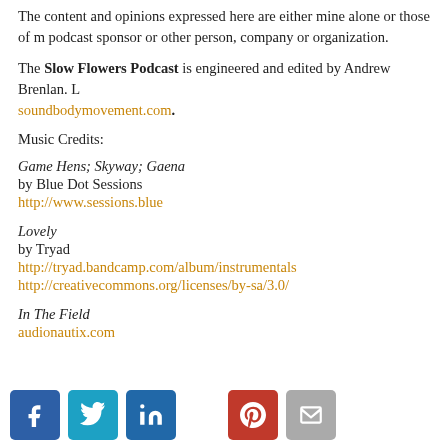The content and opinions expressed here are either mine alone or those of my podcast sponsor or other person, company or organization.
The Slow Flowers Podcast is engineered and edited by Andrew Brenlan. Learn more at soundbodymovement.com.
Music Credits:
Game Hens; Skyway; Gaena
by Blue Dot Sessions
http://www.sessions.blue
Lovely
by Tryad
http://tryad.bandcamp.com/album/instrumentals
http://creativecommons.org/licenses/by-sa/3.0/
In The Field
audionautix.com
[Figure (infographic): Social media sharing icons: Facebook (blue), Twitter (cyan), LinkedIn (blue), Pinterest (red), Email (gray)]